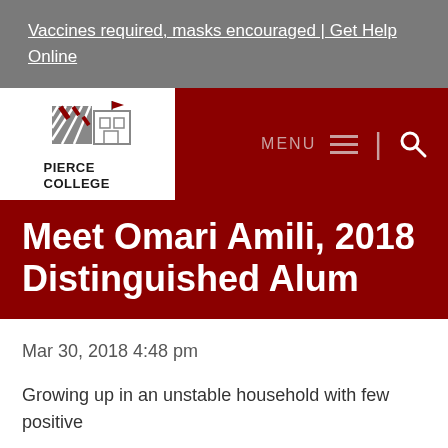Vaccines required, masks encouraged | Get Help Online
[Figure (logo): Pierce College logo with stylized building/flag graphic above text PIERCE COLLEGE]
Meet Omari Amili, 2018 Distinguished Alum
Mar 30, 2018 4:48 pm
Growing up in an unstable household with few positive